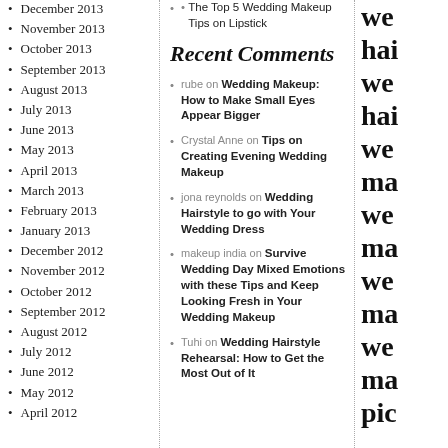December 2013
November 2013
October 2013
September 2013
August 2013
July 2013
June 2013
May 2013
April 2013
March 2013
February 2013
January 2013
December 2012
November 2012
October 2012
September 2012
August 2012
July 2012
June 2012
May 2012
April 2012
The Top 5 Wedding Makeup Tips on Lipstick
Recent Comments
rube on Wedding Makeup: How to Make Small Eyes Appear Bigger
Crystal Anne on Tips on Creating Evening Wedding Makeup
jona reynolds on Wedding Hairstyle to go with Your Wedding Dress
makeup india on Survive Wedding Day Mixed Emotions with these Tips and Keep Looking Fresh in Your Wedding Makeup
Tuhi on Wedding Hairstyle Rehearsal: How to Get the Most Out of It
we hai we hai we ma we ma we ma we ma pic